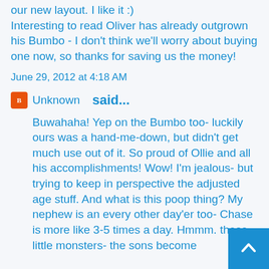our new layout. I like it :) Interesting to read Oliver has already outgrown his Bumbo - I don't think we'll worry about buying one now, so thanks for saving us the money!
June 29, 2012 at 4:18 AM
Unknown said...
Buwahaha! Yep on the Bumbo too- luckily ours was a hand-me-down, but didn't get much use out of it. So proud of Ollie and all his accomplishments! Wow! I'm jealous- but trying to keep in perspective the adjusted age stuff. And what is this poop thing? My nephew is an every other day'er too- Chase is more like 3-5 times a day. Hmmm. these little monsters- the sons become